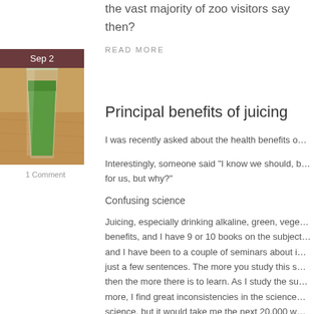the vast majority of zoo visitors say then?
READ MORE
[Figure (photo): Green juice in a tall glass on a wooden table surface, with a date badge showing Sep 2 at the top]
1 Comment
Principal benefits of juicing
I was recently asked about the health benefits o…
Interestingly, someone said "I know we should, b… for us, but why?"
Confusing science
Juicing, especially drinking alkaline, green, vege… benefits, and I have 9 or 10 books on the subject… and I have been to a couple of seminars about i… just a few sentences. The more you study this s… then the more there is to learn. As I study the su… more, I find great inconsistencies in the science… science, but it would take me the next 20,000 w… the surface; for now, we can always go deeper a…